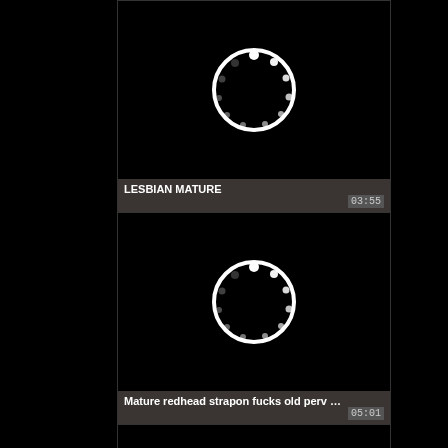[Figure (screenshot): Video thumbnail showing loading spinner (white circle with dots) on black background, card 1]
LESBIAN MATURE
03:55
[Figure (screenshot): Video thumbnail showing loading spinner (white circle with dots) on black background, card 2]
Mature redhead strapon fucks old perv …
05:01
[Figure (screenshot): Video thumbnail (black, partially visible), card 3]